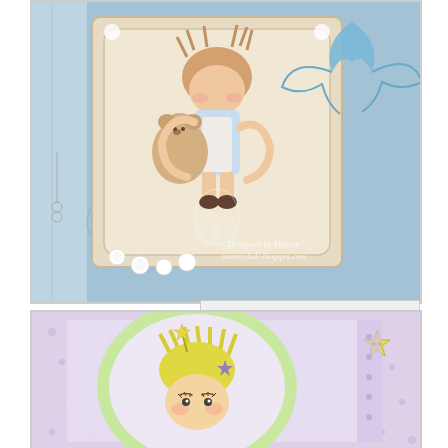[Figure (photo): Handmade greeting card featuring a girl hugging a teddy bear, mounted on blue patterned background with ribbon bow decoration, pearls, and decorative elements. Watermark reads 'Designed by Helene mummylade.blogspot.com']
[Figure (photo): Photobucket image placeholder showing 'This Image is Currently Unavailable' with photobucket logo and 'karen' label in pink]
[Figure (photo): Handmade greeting card featuring a fairy/star character with wild yellow hair and star wand, on purple polka dot patterned background with green scalloped oval mat and yellow star button embellishment]